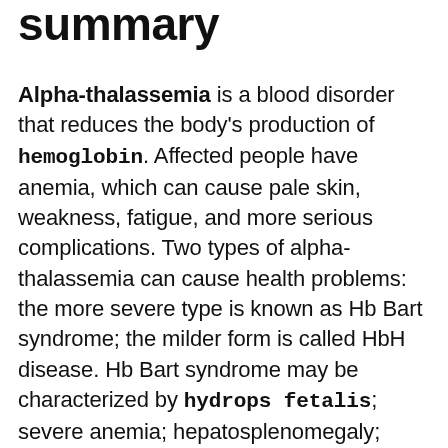summary
Alpha-thalassemia is a blood disorder that reduces the body's production of hemoglobin. Affected people have anemia, which can cause pale skin, weakness, fatigue, and more serious complications. Two types of alpha-thalassemia can cause health problems: the more severe type is known as Hb Bart syndrome; the milder form is called HbH disease. Hb Bart syndrome may be characterized by hydrops fetalis; severe anemia; hepatosplenomegaly; heart defects; and abnormalities of the urinary system or genitalia. Most babies with this condition are stillborn or die soon after birth. HbH disease may cause mild to moderate anemia; hepatosplenomegaly; jaundice; or bone changes. Alpha-thalassemia typically results from deletions involving the HBA1 and HBA2 genes. The inheritance is complex, and can be read about here.[1] No treatment is effective for